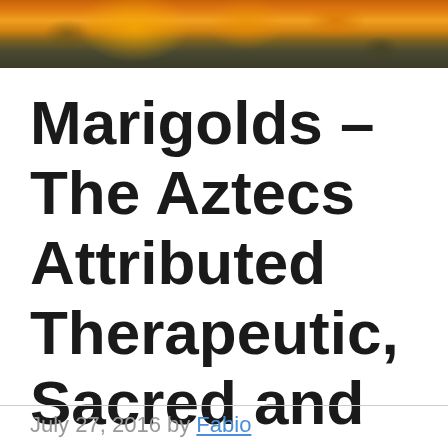[Figure (photo): Close-up photo of orange and yellow marigold flowers with green foliage in the background, cropped at top of page]
Marigolds – The Aztecs Attributed Therapeutic, Sacred and Supernatural Powers to it
July 27, 2016 by Fabio